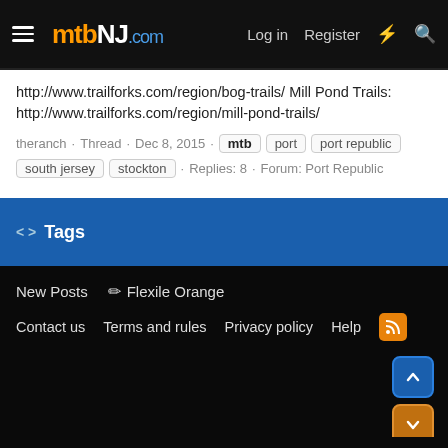mtbNJ.com — Log in | Register
http://www.trailforks.com/region/bog-trails/ Mill Pond Trails: http://www.trailforks.com/region/mill-pond-trails/
theranch · Thread · Dec 8, 2015 · mtb | port | port republic | south jersey | stockton · Replies: 8 · Forum: Port Republic
Tags
New Posts  ✏ Flexile Orange
Contact us  Terms and rules  Privacy policy  Help  [RSS]
Community platform by XenForo® © 2010-2022 XenForo Ltd. | Media embeds via s9e/MediaSites
XenCarta 2 PRO © Jason Axelrod of 8WAYRUN